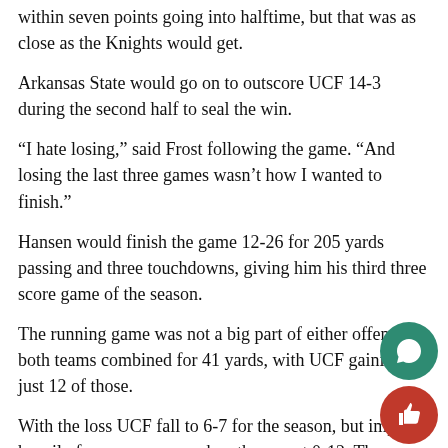within seven points going into halftime, but that was as close as the Knights would get.
Arkansas State would go on to outscore UCF 14-3 during the second half to seal the win.
“I hate losing,” said Frost following the game. “And losing the last three games wasn’t how I wanted to finish.”
Hansen would finish the game 12-26 for 205 yards passing and three touchdowns, giving him his third three score game of the season.
The running game was not a big part of either offense as both teams combined for 41 yards, with UCF gaining just 12 of those.
With the loss UCF fall to 6-7 for the season, but impr heavily from a year ago when they went 0-12. The Knights did close the season losing three games in a row, star with Tulsa on November 19.